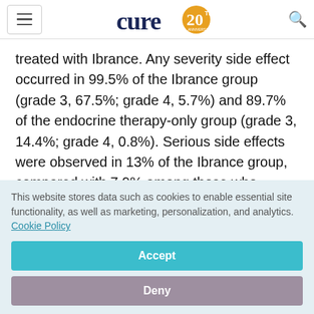cure 20th anniversary logo
treated with Ibrance. Any severity side effect occurred in 99.5% of the Ibrance group (grade 3, 67.5%; grade 4, 5.7%) and 89.7% of the endocrine therapy-only group (grade 3, 14.4%; grade 4, 0.8%). Serious side effects were observed in 13% of the Ibrance group, compared with 7.9% among those who received endocrine therapy alone. Of the 176
This website stores data such as cookies to enable essential site functionality, as well as marketing, personalization, and analytics. Cookie Policy
Accept
Deny